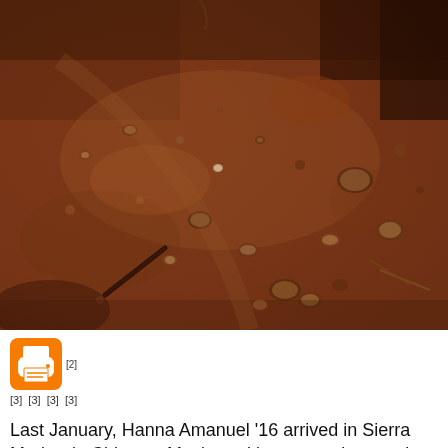[Figure (photo): Close-up photograph of dry, reddish-brown earth with scattered pebbles and small rocks. A dark twig or stick lies on the left side. Some organic debris and a few green-brown elements are visible at the upper and right edges.]
[Figure (other): Orange print icon (printer symbol in an orange rounded rectangle), followed by reference marker [2]]
[3]  [3]  [3]  [3]
Last January, Hanna Amanuel '16 arrived in Sierra Madre de Chiapas, Mexico, with a strong interest in maternal